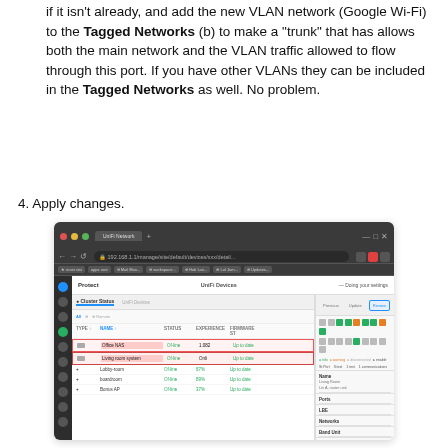if it isn't already, and add the new VLAN network (Google Wi-Fi) to the Tagged Networks (b) to make a "trunk" that has allows both the main network and the VLAN traffic allowed to flow through this port. If you have other VLANs they can be included in the Tagged Networks as well. No problem.
4. Apply changes.
[Figure (screenshot): Screenshot of UniFi Network controller interface showing device list with Office NAS and Living room switch highlighted in red, and right panel showing device details with ports section, status, and other configuration options.]